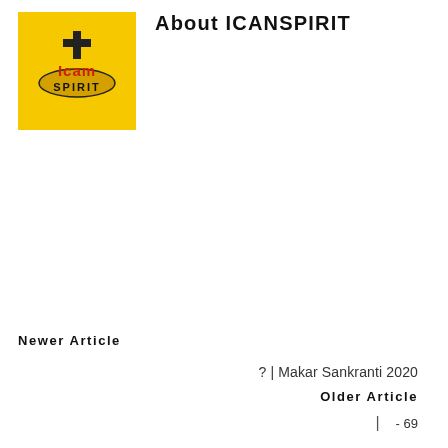[Figure (logo): ICANSPIRIT logo: yellow square background with stylized text 'Icam SPIRIT' and a graphic element]
About ICANSPIRIT
Newer Article
? | Makar Sankranti 2020
Older Article
| - 69